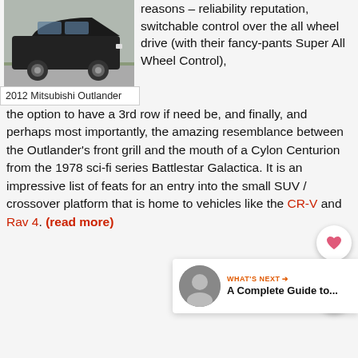[Figure (photo): Photo of a 2012 Mitsubishi Outlander, dark colored SUV parked on a road with grass visible]
2012 Mitsubishi Outlander
reasons – reliability reputation, switchable control over the all wheel drive (with their fancy-pants Super All Wheel Control), the option to have a 3rd row if need be, and finally, and perhaps most importantly, the amazing resemblance between the Outlander's front grill and the mouth of a Cylon Centurion from the 1978 sci-fi series Battlestar Galactica. It is an impressive list of feats for an entry into the small SUV / crossover platform that is home to vehicles like the CR-V and Rav 4. (read more)